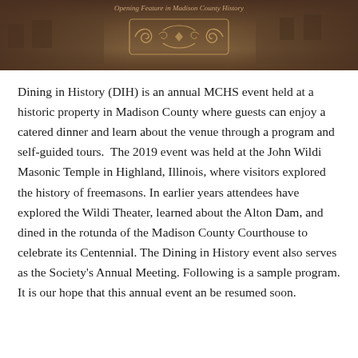[Figure (photo): Sepia-toned historical banner image with an ornamental scroll design in the center and a partial text header above it, showing historic building in background.]
Dining in History (DIH) is an annual MCHS event held at a historic property in Madison County where guests can enjoy a catered dinner and learn about the venue through a program and self-guided tours.  The 2019 event was held at the John Wildi Masonic Temple in Highland, Illinois, where visitors explored the history of freemasons. In earlier years attendees have explored the Wildi Theater, learned about the Alton Dam, and dined in the rotunda of the Madison County Courthouse to celebrate its Centennial. The Dining in History event also serves as the Society's Annual Meeting. Following is a sample program. It is our hope that this annual event an be resumed soon.